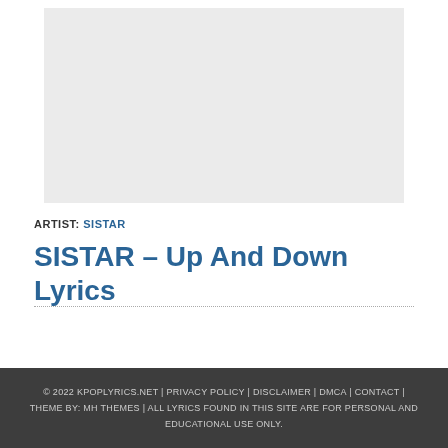[Figure (other): Advertisement placeholder — light grey rectangle]
ARTIST: SISTAR
SISTAR – Up And Down Lyrics
© 2022 KPOPLYRICS.NET | PRIVACY POLICY | DISCLAIMER | DMCA | CONTACT | THEME BY: MH THEMES | ALL LYRICS FOUND IN THIS SITE ARE FOR PERSONAL AND EDUCATIONAL USE ONLY.